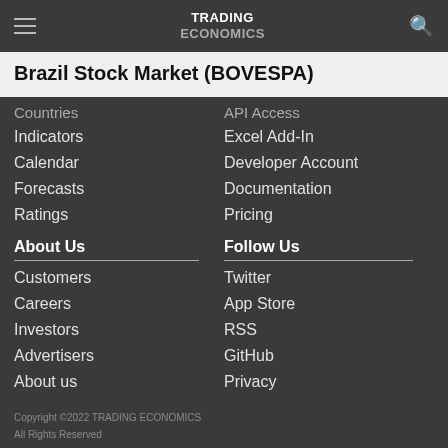TRADING ECONOMICS
Brazil Stock Market (BOVESPA)
Countries
Indicators
Calendar
Forecasts
Ratings
API Access
Excel Add-In
Developer Account
Documentation
Pricing
About Us
Customers
Careers
Investors
Advertisers
About us
Follow Us
Twitter
App Store
RSS
GitHub
Privacy
Copyright ©2022 TRADING ECONOMICS
All Rights Reserved